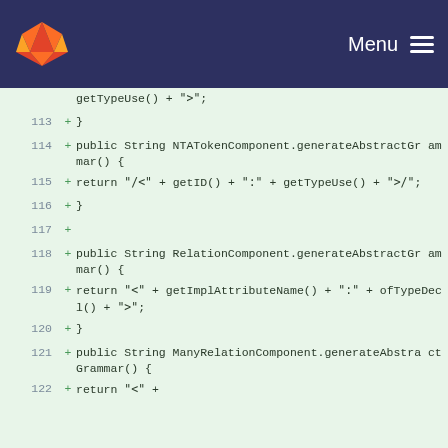GitLab — Menu
Code diff viewer showing lines 113-122 with additions:
113 +     }
114 +   public String NTATokenComponent.generateAbstractGrammar() {
115 +       return "/<" + getID() + ":" + getTypeUse() + ">/";
116 +     }
117 +
118 +   public String RelationComponent.generateAbstractGrammar() {
119 +       return "<" + getImplAttributeName() + ":" + ofTypeDecl() + ">";
120 +     }
121 +   public String ManyRelationComponent.generateAbstractAbstractGrammar() {
122 +       return "<" +